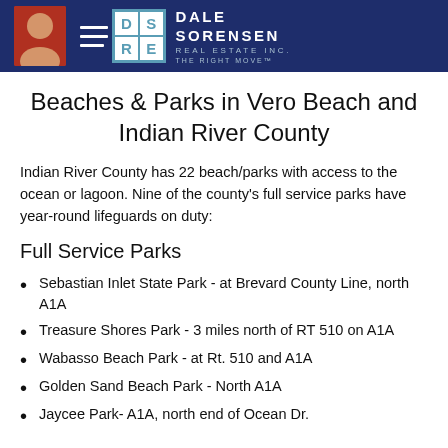Dale Sorensen Real Estate Inc. — The Right Move
Beaches & Parks in Vero Beach and Indian River County
Indian River County has 22 beach/parks with access to the ocean or lagoon. Nine of the county's full service parks have year-round lifeguards on duty:
Full Service Parks
Sebastian Inlet State Park - at Brevard County Line, north A1A
Treasure Shores Park - 3 miles north of RT 510 on A1A
Wabasso Beach Park - at Rt. 510 and A1A
Golden Sand Beach Park - North A1A
Jaycee Park- A1A, north end of Ocean Dr.